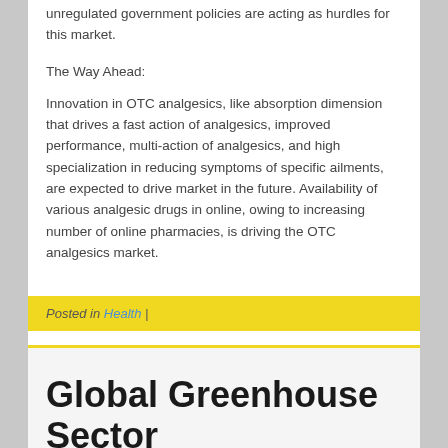unregulated government policies are acting as hurdles for this market.
The Way Ahead:
Innovation in OTC analgesics, like absorption dimension that drives a fast action of analgesics, improved performance, multi-action of analgesics, and high specialization in reducing symptoms of specific ailments, are expected to drive market in the future. Availability of various analgesic drugs in online, owing to increasing number of online pharmacies, is driving the OTC analgesics market.
Posted in Health |
Global Greenhouse Sector
Posted on DECEMBER 18, 2016 by ADMIN